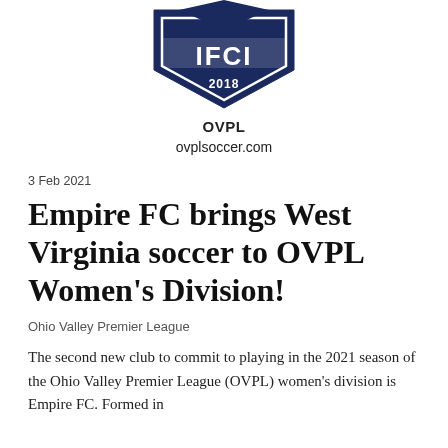[Figure (logo): OVPL shield/crest logo with 'IFCI' text and '2018' year, dark navy blue pentagonal shield shape, partially cropped at top]
OVPL
ovplsoccer.com
3 Feb 2021
Empire FC brings West Virginia soccer to OVPL Women's Division!
Ohio Valley Premier League
The second new club to commit to playing in the 2021 season of the Ohio Valley Premier League (OVPL) women's division is Empire FC. Formed in